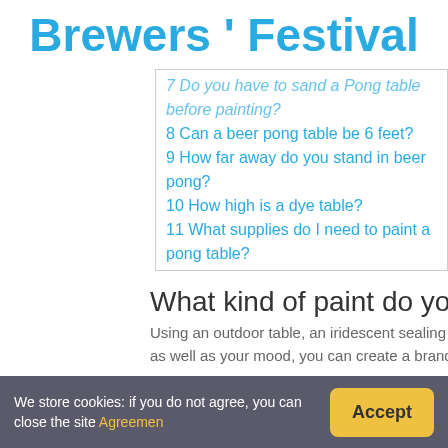Brewers ' Festival
7 Do you have to sand a Pong table before painting?
8 Can a beer pong table be 6 feet?
9 How far away do you stand in beer pong?
10 How high is a dye table?
11 What supplies do I need to paint a pong table?
What kind of paint do you use on a beer p
Using an outdoor table, an iridescent sealing spray, a fin as well as your mood, you can create a brand-new beer
What are the dimensions of a beer pong t
The Pro Beer Pong Table is official length at 8 feet and ot
We store cookies: if you do not agree, you can close the site Agreemen